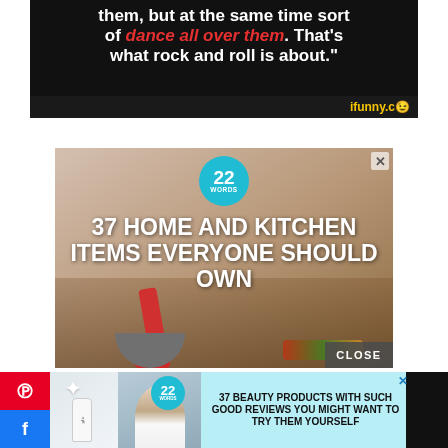[Figure (screenshot): Screenshot of iFunny meme image with white bold text on black background reading 'them, but at the same time sort of dance all over them. That's what rock and roll is about.' with 'dance all over them' in red italic text. iFunny.co logo at bottom right.]
[Figure (screenshot): Advertisement for '37 HOME AND KITCHEN ITEMS EVERYONE SHOULD OWN' from 22 Words website, showing a woman using kitchen tools, with teal '22 WORDS' badge and a CLOSE button overlay.]
[Figure (screenshot): Second advertisement for '37 BEAUTY PRODUCTS WITH SUCH GOOD REVIEWS YOU MIGHT WANT TO TRY THEM YOURSELF' from 22 Words, shown as a bottom banner with beauty product images and social media Pinterest and Facebook icons on the left.]